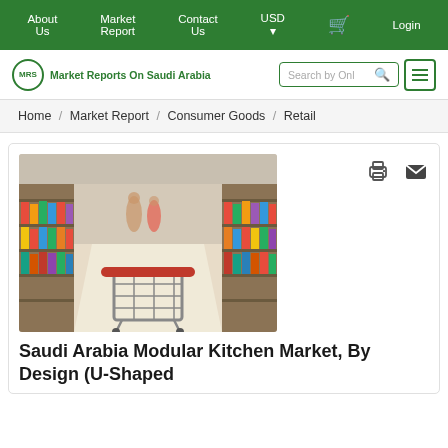About Us / Market Report / Contact Us / USD / Login
Market Reports On Saudi Arabia
Home / Market Report / Consumer Goods / Retail
[Figure (photo): Supermarket aisle with shelves of products on both sides and an empty shopping cart with red handle in the foreground]
Saudi Arabia Modular Kitchen Market, By Design (U-Shaped